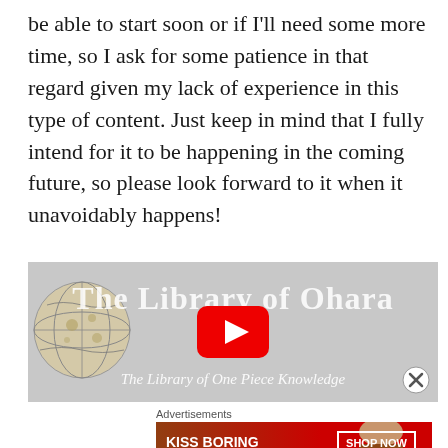be able to start soon or if I'll need some more time, so I ask for some patience in that regard given my lack of experience in this type of content. Just keep in mind that I fully intend for it to be happening in the coming future, so please look forward to it when it unavoidably happens!
[Figure (other): The Library of Ohara advertisement banner with globe logo, large title text 'The Library of Ohara', subtitle 'The Library of One Piece Knowledge', and a red YouTube-style play button overlay in the center.]
Advertisements
[Figure (other): Macy's advertisement banner with red background, bold white text 'KISS BORING LIPS GOODBYE', a photo of a woman with red lips, and a 'SHOP NOW' button with Macy's star logo.]